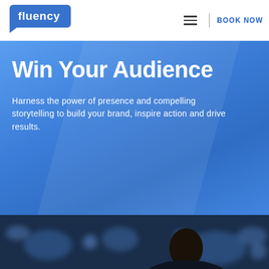[Figure (logo): Fluency logo — white text on blue speech-bubble shape in top-left header]
≡  | BOOK NOW
Win Your Audience
Harness the power of presence and compelling storytelling to build your brand, inspire action and drive results.
[Figure (photo): Blurred blue-tinted photo of a man in a suit seen from behind, facing a blurred audience or conference room setting]